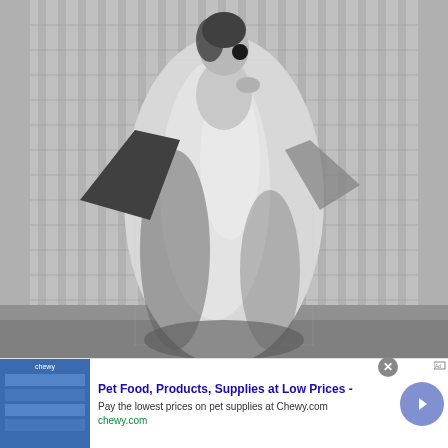[Figure (photo): Black and white photograph of a woman wearing a long sequined/beaded gown with wide sleeves, posing in front of a tall modern building with a grid-like facade. She has black circular earrings and one hand raised to her chin.]
[Figure (other): Advertisement banner for Chewy.com pet supplies. Headline: 'Pet Food, Products, Supplies at Low Prices -'. Description: 'Pay the lowest prices on pet supplies at Chewy.com'. URL: 'chewy.com'. Includes a product thumbnail image and a circular arrow navigation button.]